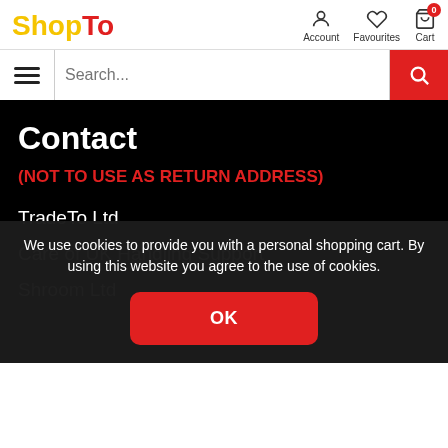ShopTo — Account, Favourites, Cart
Contact
(NOT TO USE AS RETURN ADDRESS)
TradeTo Ltd
Care of UK Handling Support
Shroom Ltd
We use cookies to provide you with a personal shopping cart. By using this website you agree to the use of cookies.